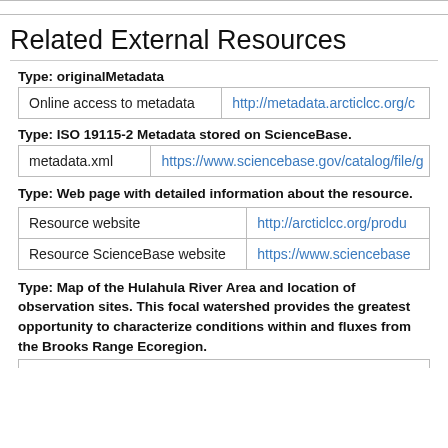|  |  |  |  |
Related External Resources
Type: originalMetadata
| Online access to metadata | http://metadata.arcticlcc.org/c |
Type: ISO 19115-2 Metadata stored on ScienceBase.
| metadata.xml | https://www.sciencebase.gov/catalog/file/g |
Type: Web page with detailed information about the resource.
| Resource website | http://arcticlcc.org/produ |
| Resource ScienceBase website | https://www.sciencebase |
Type: Map of the Hulahula River Area and location of observation sites. This focal watershed provides the greatest opportunity to characterize conditions within and fluxes from the Brooks Range Ecoregion.